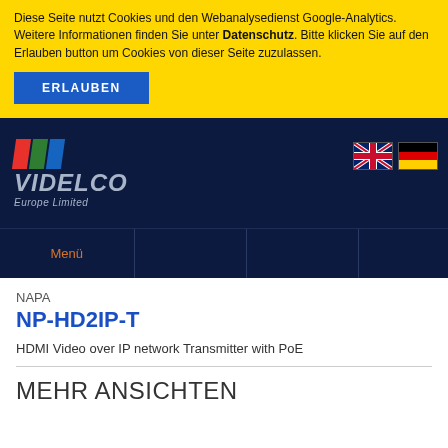Diese Seite nutzt Cookies und den Webanalysedienst Google-Analytics. Weitere Informationen finden Sie unter Datenschutz. Bitte klicken Sie auf den Erlauben button um Cookies von dieser Seite zuzulassen.
ERLAUBEN
[Figure (logo): Videlco Europe Limited logo with red, green, blue diagonal stripes on dark navy background]
[Figure (illustration): UK flag and German flag icons in the top right of the header]
Menü
NAPA
NP-HD2IP-T
HDMI Video over IP network Transmitter with PoE
MEHR ANSICHTEN